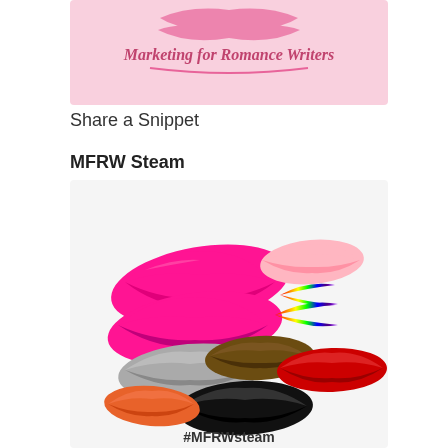[Figure (logo): Marketing for Romance Writers logo - pink background with cursive text reading 'Marketing for Romance Writers']
Share a Snippet
MFRW Steam
[Figure (illustration): MFRW Steam image showing multiple colorful lip/kiss marks in various colors including hot pink, light pink, rainbow, gray, brown, black, red, and orange, with text '#MFRWsteam' at the bottom]